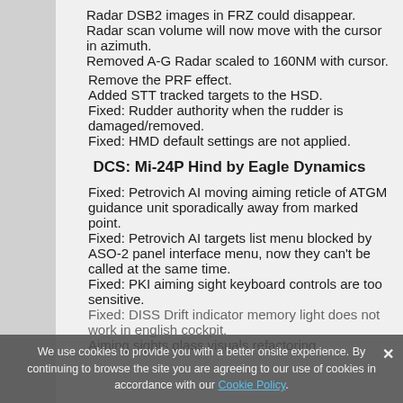Radar DSB2 images in FRZ could disappear.
Radar scan volume will now move with the cursor in azimuth.
Removed A-G Radar scaled to 160NM with cursor.
Remove the PRF effect.
Added STT tracked targets to the HSD.
Fixed: Rudder authority when the rudder is damaged/removed.
Fixed: HMD default settings are not applied.
DCS: Mi-24P Hind by Eagle Dynamics
Fixed: Petrovich AI moving aiming reticle of ATGM guidance unit sporadically away from marked point.
Fixed: Petrovich AI targets list menu blocked by ASO-2 panel interface menu, now they can't be called at the same time.
Fixed: PKI aiming sight keyboard controls are too sensitive.
Fixed: DISS Drift indicator memory light does not work in english cockpit.
Aiming sights glass visuals refactoring